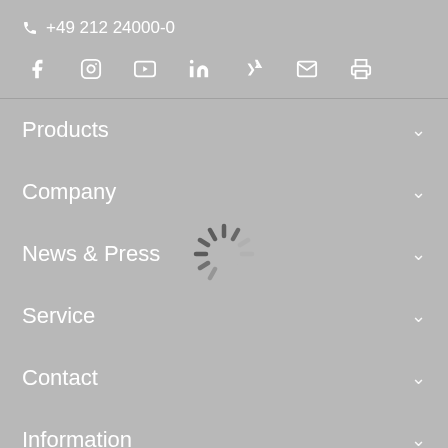+49 212 24000-0
[Figure (infographic): Social media icons row: Facebook, Instagram, YouTube, LinkedIn, Xing, Email, Print]
Products
Company
[Figure (infographic): Loading spinner animation icon centered on the page]
News & Press
Service
Contact
Information